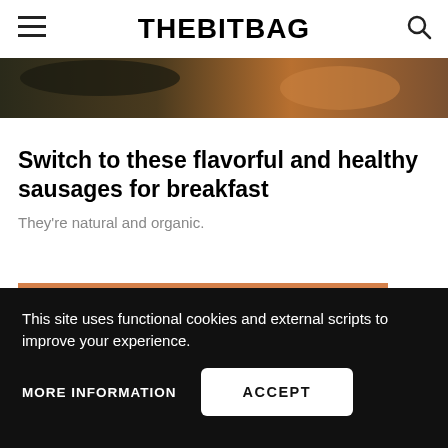THEBITBAG
[Figure (photo): Partial view of sausages cooking, dark and golden tones]
Switch to these flavorful and healthy sausages for breakfast
They're natural and organic.
GET 10% OFF YOUR FIRST ORDER
This site uses functional cookies and external scripts to improve your experience.
MORE INFORMATION
ACCEPT